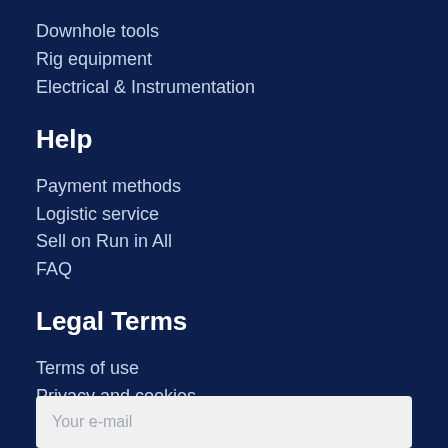Downhole tools
Rig equipment
Electrical & Instrumentation
Help
Payment methods
Logistic service
Sell on Run in All
FAQ
Legal Terms
Terms of use
Privacy and cookies
Legal Notes
Newsletter
Your e-mail